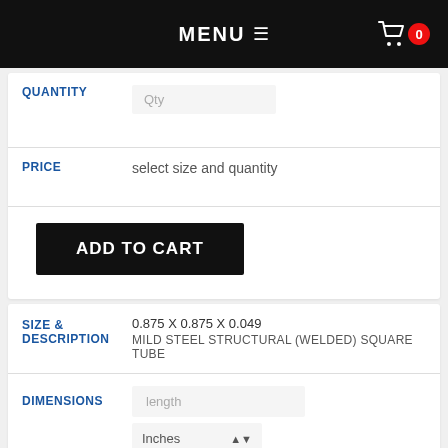MENU ☰
QUANTITY — Qty input
PRICE — select size and quantity
ADD TO CART
SIZE & DESCRIPTION — 0.875 X 0.875 X 0.049 — MILD STEEL STRUCTURAL (WELDED) SQUARE TUBE
DIMENSIONS — length input — Inches
QUANTITY — Qty input
PRICE — contact us